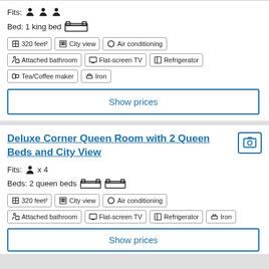Fits: 3 persons
Bed: 1 king bed
320 feet² | City view | Air conditioning | Attached bathroom | Flat-screen TV | Refrigerator | Tea/Coffee maker | Iron
Show prices
Deluxe Corner Queen Room with 2 Queen Beds and City View
Fits: x 4
Beds: 2 queen beds
320 feet² | City view | Air conditioning | Attached bathroom | Flat-screen TV | Refrigerator | Iron
Show prices